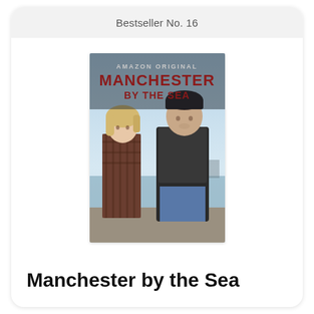Bestseller No. 16
[Figure (photo): Movie poster for Manchester by the Sea (Amazon Original). Two people — a woman in a plaid jacket and a man in a dark jacket — stand facing each other outdoors near a waterfront. The title 'MANCHESTER BY THE SEA' is displayed prominently at the top of the poster.]
Manchester by the Sea